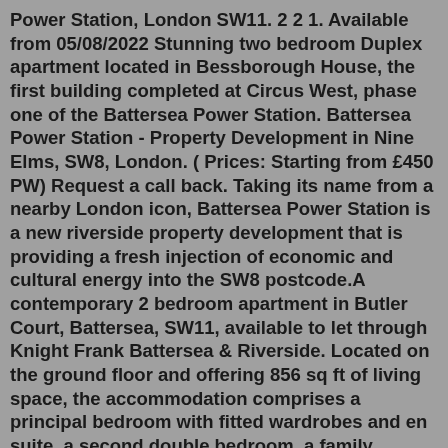Power Station, London SW11. 2 2 1. Available from 05/08/2022 Stunning two bedroom Duplex apartment located in Bessborough House, the first building completed at Circus West, phase one of the Battersea Power Station. Battersea Power Station - Property Development in Nine Elms, SW8, London. ( Prices: Starting from £450 PW) Request a call back. Taking its name from a nearby London icon, Battersea Power Station is a new riverside property development that is providing a fresh injection of economic and cultural energy into the SW8 postcode.A contemporary 2 bedroom apartment in Butler Court, Battersea, SW11, available to let through Knight Frank Battersea & Riverside. Located on the ground floor and offering 856 sq ft of living space, the accommodation comprises a principal bedroom with fitted wardrobes and en suite, a second double bedroom, a family bathroom with bathtub and a ...Battersea Arts Centre. Lavender Hill ., SW11 5TN Londen, United Kingdom. bac.org.uk/venue-hire.